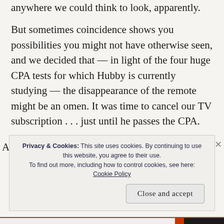anywhere we could think to look, apparently.
But sometimes coincidence shows you possibilities you might not have otherwise seen, and we decided that — in light of the four huge CPA tests for which Hubby is currently studying — the disappearance of the remote might be an omen. It was time to cancel our TV subscription . . . just until he passes the CPA.
Privacy & Cookies: This site uses cookies. By continuing to use this website, you agree to their use.
To find out more, including how to control cookies, see here: Cookie Policy